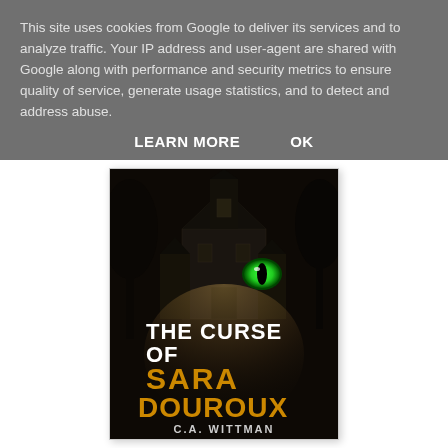This site uses cookies from Google to deliver its services and to analyze traffic. Your IP address and user-agent are shared with Google along with performance and security metrics to ensure quality of service, generate usage statistics, and to detect and address abuse.
LEARN MORE   OK
[Figure (illustration): Book cover for 'The Curse of Sara Douroux' by C.A. Wittman. Dark gothic illustration showing a haunted mansion at night with glowing green cat eyes. Title text in white and orange/gold. Author name at bottom.]